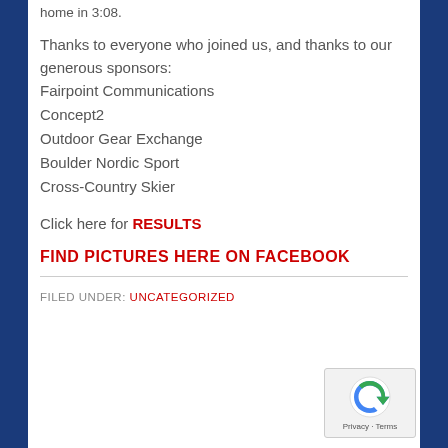home in 3:08.
Thanks to everyone who joined us, and thanks to our generous sponsors:
Fairpoint Communications
Concept2
Outdoor Gear Exchange
Boulder Nordic Sport
Cross-Country Skier
Click here for RESULTS
FIND PICTURES HERE ON FACEBOOK
FILED UNDER: UNCATEGORIZED